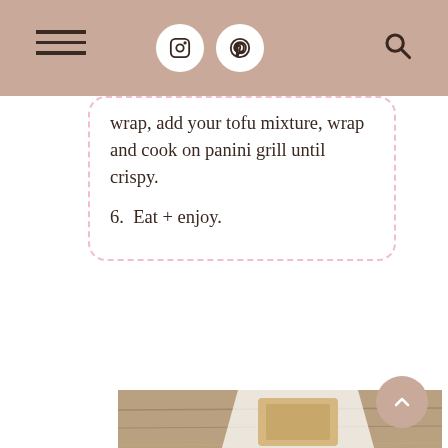Navigation header with hamburger menu, Instagram icon, Pinterest icon, and search icon
wrap, add your tofu mixture, wrap and cook on panini grill until crispy.
6. Eat + enjoy.
[Figure (photo): Top portion of a food photo showing wrapped panini sandwiches on a wooden surface with a white cloth, viewed from above]
COMING UP »
3 INGREDIENT REESE'S PIECES
[Figure (photo): Bottom food photo showing panini sandwiches on a cutting board with scattered toppings including red peppers, herbs, and salt, with a white cloth in the background]